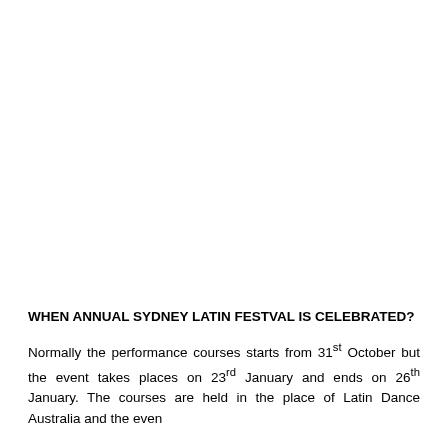WHEN ANNUAL SYDNEY LATIN FESTVAL IS CELEBRATED?
Normally the performance courses starts from 31st October but the event takes places on 23rd January and ends on 26th January. The courses are held in the place of Latin Dance Australia and the even